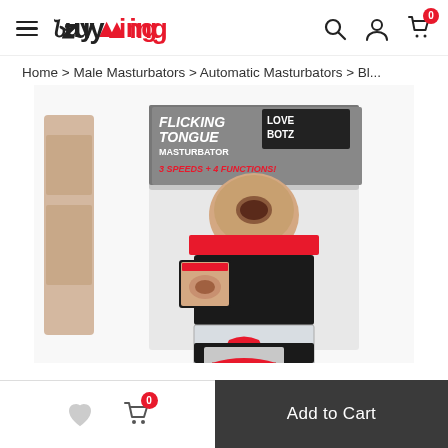BuyGing — hamburger menu, search, account, cart (0)
Home > Male Masturbators > Automatic Masturbators > Bl...
[Figure (photo): Product photo of LoveBotz Flicking Tongue Masturbator box showing the device with text '3 Speeds + 4 Functions!']
Wishlist | Cart (0) | Add to Cart